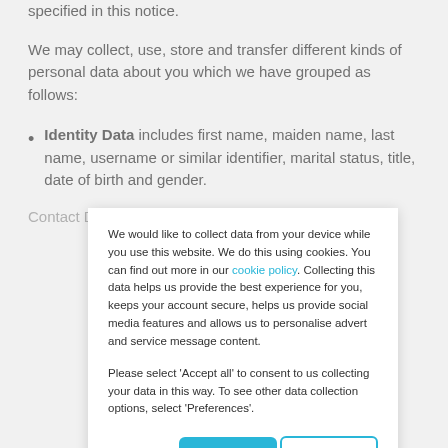specified in this notice.
We may collect, use, store and transfer different kinds of personal data about you which we have grouped as follows:
Identity Data includes first name, maiden name, last name, username or similar identifier, marital status, title, date of birth and gender.
We would like to collect data from your device while you use this website. We do this using cookies. You can find out more in our cookie policy. Collecting this data helps us provide the best experience for you, keeps your account secure, helps us provide social media features and allows us to personalise advert and service message content.
Please select 'Accept all' to consent to us collecting your data in this way. To see other data collection options, select 'Preferences'.